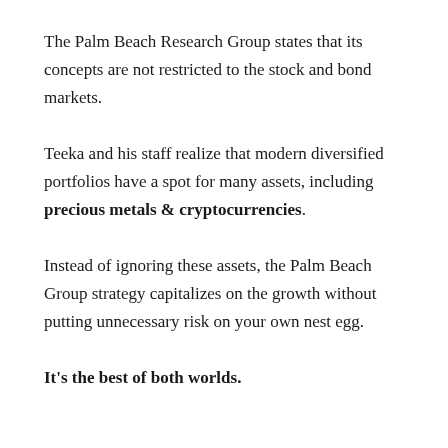The Palm Beach Research Group states that its concepts are not restricted to the stock and bond markets.
Teeka and his staff realize that modern diversified portfolios have a spot for many assets, including precious metals & cryptocurrencies.
Instead of ignoring these assets, the Palm Beach Group strategy capitalizes on the growth without putting unnecessary risk on your own nest egg.
It's the best of both worlds.